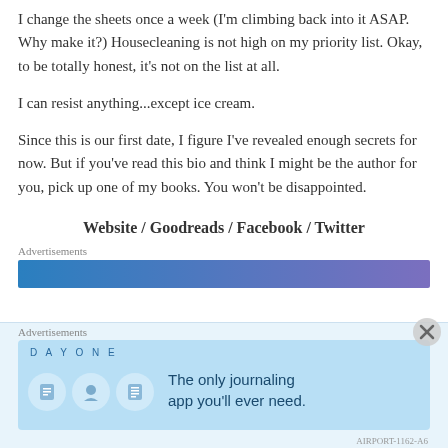I change the sheets once a week (I'm climbing back into it ASAP. Why make it?) Housecleaning is not high on my priority list. Okay, to be totally honest, it's not on the list at all.
I can resist anything...except ice cream.
Since this is our first date, I figure I've revealed enough secrets for now. But if you've read this bio and think I might be the author for you, pick up one of my books. You won't be disappointed.
Website / Goodreads / Facebook / Twitter
Advertisements
[Figure (other): Blue to purple gradient advertisement banner]
Advertisements
[Figure (other): Day One journaling app advertisement with icons and text: The only journaling app you'll ever need.]